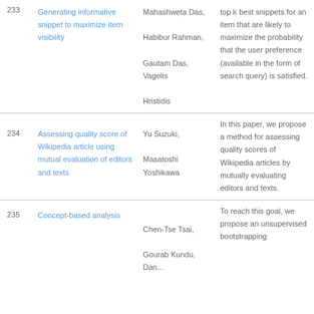| # | Title | Authors | Description |
| --- | --- | --- | --- |
| 233 | Generating informative snippet to maximize item visibility | Mahashweta Das, Habibur Rahman, Gautam Das, Vagelis Hristidis | top k best snippets for an item that are likely to maximize the probability that the user preference (available in the form of search query) is satisfied. |
| 234 | Assessing quality score of Wikipedia article using mutual evaluation of editors and texts | Yu Suzuki, Masatoshi Yoshikawa | In this paper, we propose a method for assessing quality scores of Wikipedia articles by mutually evaluating editors and texts. |
| 235 | Concept-based analysis | Chen-Tse Tsai, Gourab Kundu, Dan... | To reach this goal, we propose an unsupervised bootstrapping |